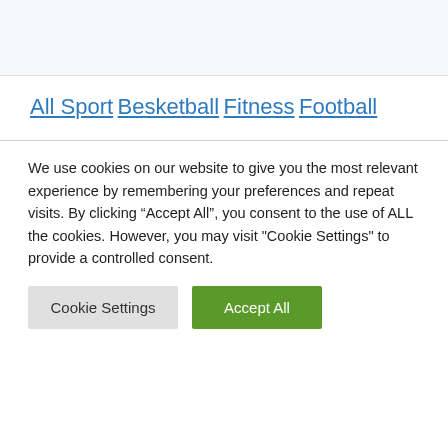All Sport
Besketball
Fitness
Football
We use cookies on our website to give you the most relevant experience by remembering your preferences and repeat visits. By clicking “Accept All”, you consent to the use of ALL the cookies. However, you may visit "Cookie Settings" to provide a controlled consent.
Cookie Settings | Accept All